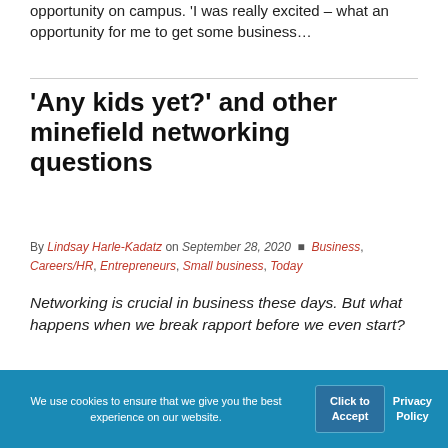opportunity on campus. 'I was really excited – what an opportunity for me to get some business…
'Any kids yet?' and other minefield networking questions
By Lindsay Harle-Kadatz on September 28, 2020  Business, Careers/HR, Entrepreneurs, Small business, Today
Networking is crucial in business these days. But what happens when we break rapport before we even start?
[Figure (photo): Partial photo strip showing an image related to the article]
We use cookies to ensure that we give you the best experience on our website.
Click to Accept
Privacy Policy